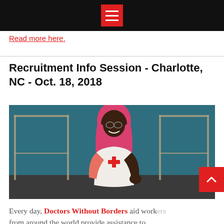☰ (navigation menu icon)
Read more here.
Recruitment Info Session - Charlotte, NC - Oct. 18, 2018
[Figure (photo): An MSF (Doctors Without Borders) aid worker wearing a pink hijab and a white MSF vest, smiling and posing in what appears to be a medical facility with teal/dark walls and metal bed frames.]
Every day, Doctors Without Borders aid workers from around the world provide assistance to people whose survival is threatened by